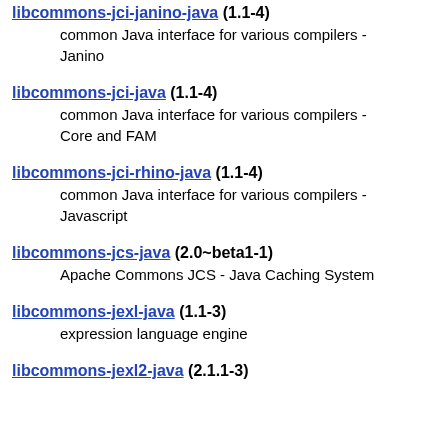libcommons-jci-janino-java (1.1-4)
common Java interface for various compilers - Janino
libcommons-jci-java (1.1-4)
common Java interface for various compilers - Core and FAM
libcommons-jci-rhino-java (1.1-4)
common Java interface for various compilers - Javascript
libcommons-jcs-java (2.0~beta1-1)
Apache Commons JCS - Java Caching System
libcommons-jexl-java (1.1-3)
expression language engine
libcommons-jexl2-java (2.1.1-3)